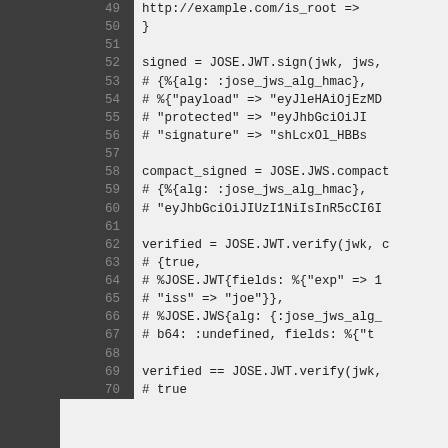Code listing lines 49-70 showing JOSE JWT/JWS sign and verify operations in Elixir
49    http://example.com/is_root  =>
50    }
51
52    signed = JOSE.JWT.sign(jwk, jws,
53    # {%{alg: :jose_jws_alg_hmac},
54    #  %{"payload" => "eyJleHAiOjEzMD
55    #     "protected" => "eyJhbGciOiJI
56    #     "signature" => "shLcxOl_HBBs
57
58    compact_signed = JOSE.JWS.compact
59    # {%{alg: :jose_jws_alg_hmac},
60    #  "eyJhbGciOiJIUzI1NiIsInR5cCI6I
61
62    verified = JOSE.JWT.verify(jwk, c
63    # {true,
64    #  %JOSE.JWT{fields: %{"exp" => 1
65    #       "iss" => "joe"}},
66    #  %JOSE.JWS{alg: {:jose_jws_alg_
67    #    b64: :undefined, fields: %{"t
68
69    verified == JOSE.JWT.verify(jwk,
70    # true